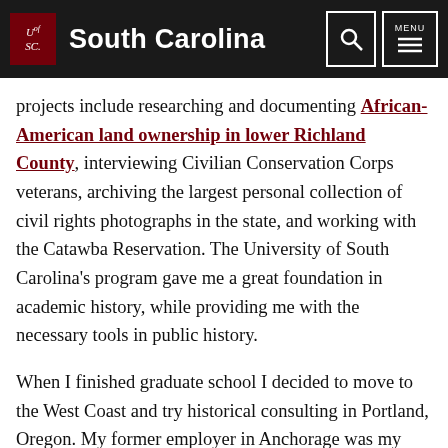University of South Carolina
projects include researching and documenting African-American land ownership in lower Richland County, interviewing Civilian Conservation Corps veterans, archiving the largest personal collection of civil rights photographs in the state, and working with the Catawba Reservation. The University of South Carolina's program gave me a great foundation in academic history, while providing me with the necessary tools in public history.
When I finished graduate school I decided to move to the West Coast and try historical consulting in Portland, Oregon. My former employer in Anchorage was my first client for my new business: Alder, LLC. It took a couple years for me to have a steady stream of work, but now I have a growing